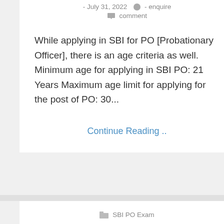- July 31, 2022  - enquire  comment
While applying in SBI for PO [Probationary Officer], there is an age criteria as well. Minimum age for applying in SBI PO: 21 Years Maximum age limit for applying for the post of PO: 30...
Continue Reading ..
SBI PO Exam
Education Eligibility Criteria of SBI PO Exam